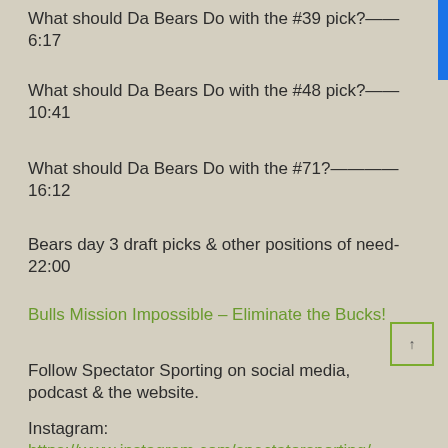What should Da Bears Do with the #39 pick?——6:17
What should Da Bears Do with the #48 pick?——10:41
What should Da Bears Do with the #71?————16:12
Bears day 3 draft picks & other positions of need-22:00
Bulls Mission Impossible – Eliminate the Bucks!
Follow Spectator Sporting on social media, podcast & the website.
Instagram: https://www.instagram.com/spectatorsporting/